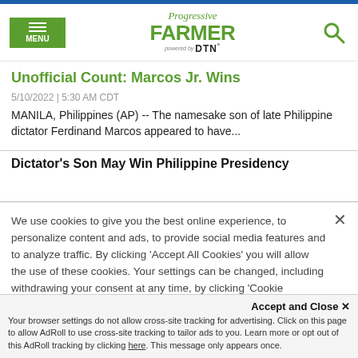Progressive Farmer powered by DTN
Unofficial Count: Marcos Jr. Wins
5/10/2022 | 5:30 AM CDT
MANILA, Philippines (AP) -- The namesake son of late Philippine dictator Ferdinand Marcos appeared to have...
Dictator's Son May Win Philippine Presidency
We use cookies to give you the best online experience, to personalize content and ads, to provide social media features and to analyze traffic. By clicking 'Accept All Cookies' you will allow the use of these cookies. Your settings can be changed, including withdrawing your consent at any time, by clicking 'Cookie Settings'. Find out more on how we and third parties use cookies in our  Cookie Policy
Accept and Close ×
Your browser settings do not allow cross-site tracking for advertising. Click on this page to allow AdRoll to use cross-site tracking to tailor ads to you. Learn more or opt out of this AdRoll tracking by clicking here. This message only appears once.